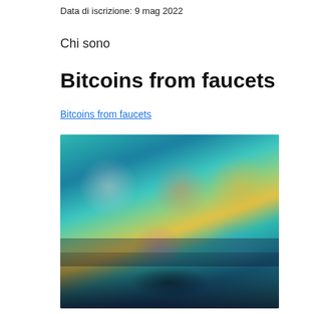Data di iscrizione: 9 mag 2022
Chi sono
Bitcoins from faucets
Bitcoins from faucets
[Figure (screenshot): Blurred screenshot of a website or app interface showing colorful game-like or media thumbnails on a teal/dark background with blurred figures and icons]